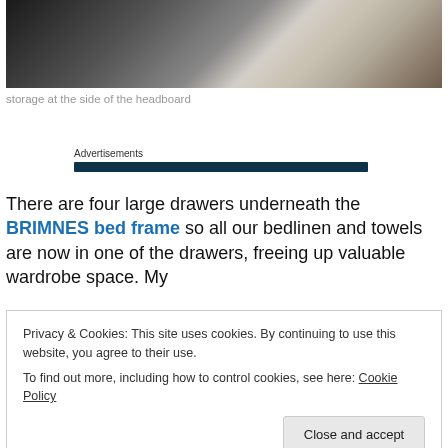[Figure (photo): Photo of storage items at side of headboard, showing a telephone/device and floral patterned bedding]
storage at the side of the headboard
Advertisements
There are four large drawers underneath the BRIMNES bed frame so all our bedlinen and towels are now in one of the drawers, freeing up valuable wardrobe space. My
Privacy & Cookies: This site uses cookies. By continuing to use this website, you agree to their use.
To find out more, including how to control cookies, see here: Cookie Policy
[Figure (photo): Bottom portion of photo showing floral patterned fabric/bedding]